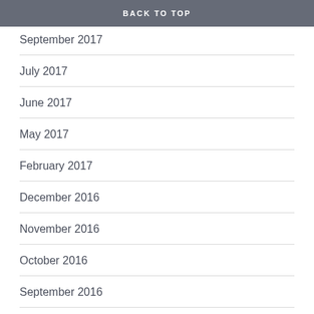BACK TO TOP
September 2017
July 2017
June 2017
May 2017
February 2017
December 2016
November 2016
October 2016
September 2016